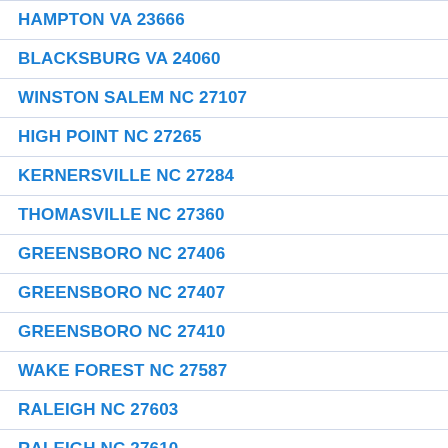HAMPTON VA 23666
BLACKSBURG VA 24060
WINSTON SALEM NC 27107
HIGH POINT NC 27265
KERNERSVILLE NC 27284
THOMASVILLE NC 27360
GREENSBORO NC 27406
GREENSBORO NC 27407
GREENSBORO NC 27410
WAKE FOREST NC 27587
RALEIGH NC 27603
RALEIGH NC 27610
RALEIGH NC 27616